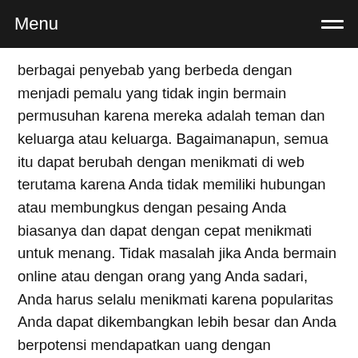Menu
berbagai penyebab yang berbeda dengan menjadi pemalu yang tidak ingin bermain permusuhan karena mereka adalah teman dan keluarga atau keluarga. Bagaimanapun, semua itu dapat berubah dengan menikmati di web terutama karena Anda tidak memiliki hubungan atau membungkus dengan pesaing Anda biasanya dan dapat dengan cepat menikmati untuk menang. Tidak masalah jika Anda bermain online atau dengan orang yang Anda sadari, Anda harus selalu menikmati karena popularitas Anda dapat dikembangkan lebih besar dan Anda berpotensi mendapatkan uang dengan melakukannya.
Untuk individu yang memiliki kemarahan untuk